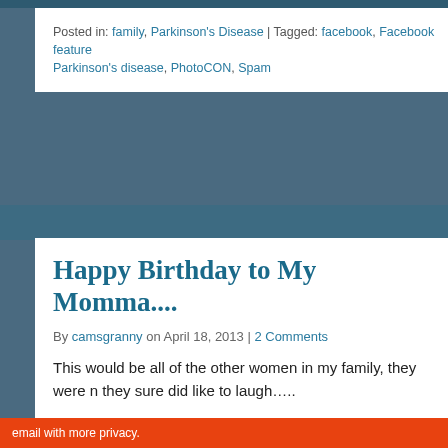Posted in: family, Parkinson's Disease | Tagged: facebook, Facebook feature, Parkinson's disease, PhotoCON, Spam
Happy Birthday to My Momma....
By camsgranny on April 18, 2013 | 2 Comments
This would be all of the other women in my family, they were n... they sure did like to laugh.....
Privacy & Cookies: This site uses cookies. By continuing to use this website, you agree to their use.
To find out more, including how to control cookies, see here: Cookie Policy
Close and accept